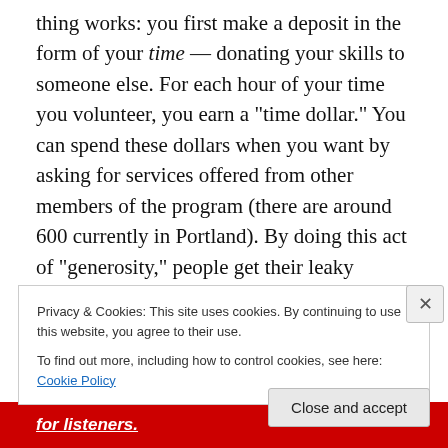thing works: you first make a deposit in the form of your time — donating your skills to someone else. For each hour of your time you volunteer, you earn a "time dollar." You can spend these dollars when you want by asking for services offered from other members of the program (there are around 600 currently in Portland). By doing this act of "generosity," people get their leaky faucets fixed, their mufflers attached, their doctors visited. Pretty simple, definitely straightforward. And those are always the best ideas (look at the Post-It). Amazing, right?! How much better off would we all be to have this in our communities?
Privacy & Cookies: This site uses cookies. By continuing to use this website, you agree to their use.
To find out more, including how to control cookies, see here: Cookie Policy
Close and accept
for listeners.